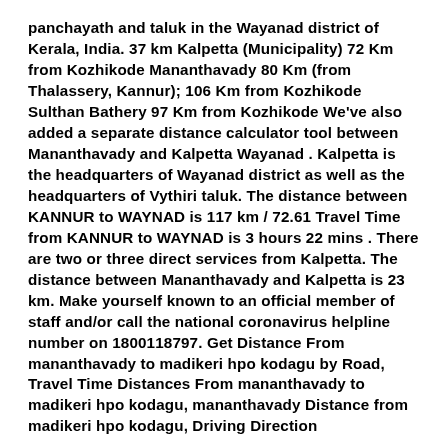panchayath and taluk in the Wayanad district of Kerala, India. 37 km Kalpetta (Municipality) 72 Km from Kozhikode Mananthavady 80 Km (from Thalassery, Kannur); 106 Km from Kozhikode Sulthan Bathery 97 Km from Kozhikode We've also added a separate distance calculator tool between Mananthavady and Kalpetta Wayanad . Kalpetta is the headquarters of Wayanad district as well as the headquarters of Vythiri taluk. The distance between KANNUR to WAYNAD is 117 km / 72.61 Travel Time from KANNUR to WAYNAD is 3 hours 22 mins . There are two or three direct services from Kalpetta. The distance between Mananthavady and Kalpetta is 23 km. Make yourself known to an official member of staff and/or call the national coronavirus helpline number on 1800118797. Get Distance From mananthavady to madikeri hpo kodagu by Road, Travel Time Distances From mananthavady to madikeri hpo kodagu, mananthavady Distance from madikeri hpo kodagu, Driving Direction